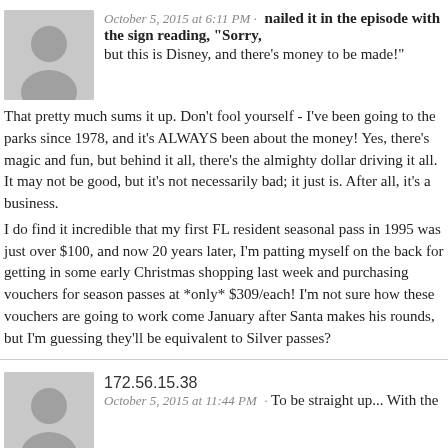nailed it in the episode with the sign reading, "Sorry, but this is Disney, and there's money to be made!"
That pretty much sums it up. Don't fool yourself - I've been going to the parks since 1978, and it's ALWAYS been about the money! Yes, there's magic and fun, but behind it all, there's the almighty dollar driving it all. It may not be good, but it's not necessarily bad; it just is. After all, it's a business.
I do find it incredible that my first FL resident seasonal pass in 1995 was just over $100, and now 20 years later, I'm patting myself on the back for getting in some early Christmas shopping last week and purchasing vouchers for season passes at *only* $309/each! I'm not sure how these vouchers are going to work come January after Santa makes his rounds, but I'm guessing they'll be equivalent to Silver passes?
172.56.15.38
October 5, 2015 at 11:44 PM · To be straight up... With the price increase, thats a few less people standing in line ahead of me! Hopefullt it serves as crowd control